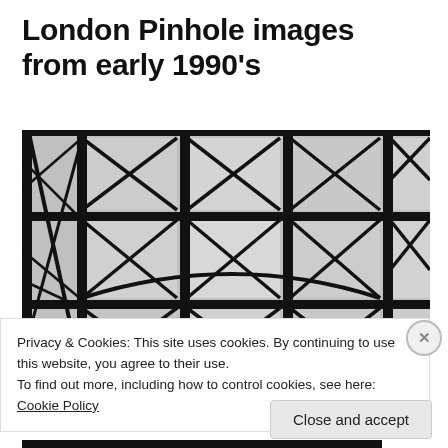London Pinhole images from early 1990’s
[Figure (photo): Black and white pinhole photograph showing a geometric glass ceiling or roof structure with triangular and rectangular panes, with dark steel frame dividers creating a grid pattern of intersecting diagonal lines.]
Privacy & Cookies: This site uses cookies. By continuing to use this website, you agree to their use.
To find out more, including how to control cookies, see here: Cookie Policy
Close and accept